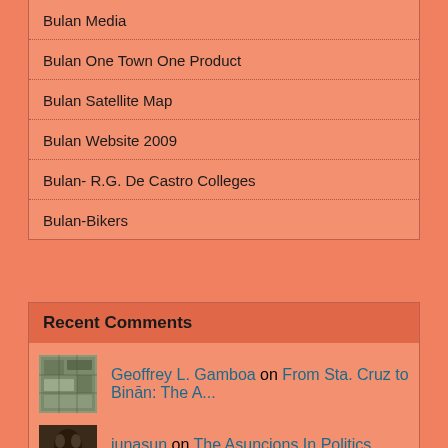Bulan Media
Bulan One Town One Product
Bulan Satellite Map
Bulan Website 2009
Bulan- R.G. De Castro Colleges
Bulan-Bikers
Recent Comments
Geoffrey L. Gamboa on From Sta. Cruz to Binān: The A...
junasun on The Asuncions In Politics, Art...
Ed Rojas on The Asuncions In Politics, Art...